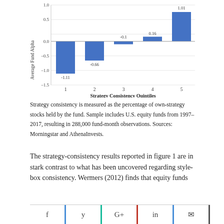[Figure (bar-chart): Average Fund Alpha by Strategy Consistency Quintiles]
Strategy consistency is measured as the percentage of own-strategy stocks held by the fund. Sample includes U.S. equity funds from 1997–2017, resulting in 288,000 fund-month observations. Sources: Morningstar and AthenaInvests.
The strategy-consistency results reported in figure 1 are in stark contrast to what has been uncovered regarding style-box consistency. Wermers (2012) finds that equity funds